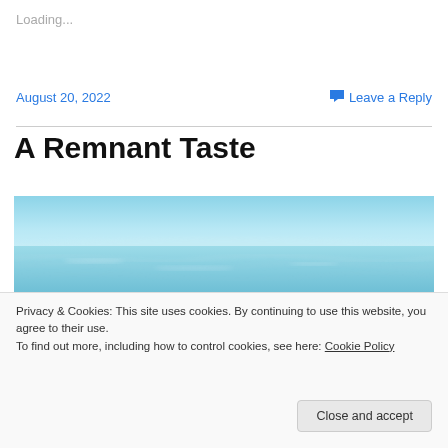Loading...
August 20, 2022
Leave a Reply
A Remnant Taste
[Figure (photo): Blurred ocean/sea with light blue water and soft waves visible]
Privacy & Cookies: This site uses cookies. By continuing to use this website, you agree to their use.
To find out more, including how to control cookies, see here: Cookie Policy
Close and accept